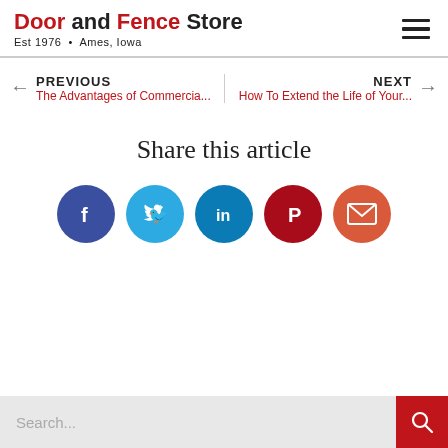Door and Fence Store — Est 1976 • Ames, Iowa
PREVIOUS — The Advantages of Commercia...   NEXT — How To Extend the Life of Your...
Share this article
[Figure (infographic): Five social share icon buttons: Facebook (dark blue), Twitter (light blue), LinkedIn (dark teal blue), Pinterest (dark red), Email (orange-red), all circular]
Search...